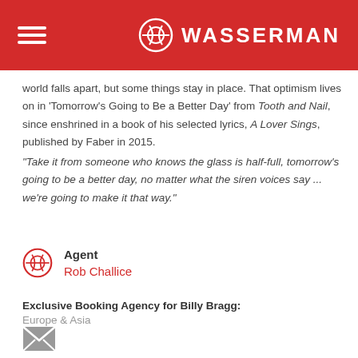WASSERMAN
world falls apart, but some things stay in place. That optimism lives on in 'Tomorrow's Going to Be a Better Day' from Tooth and Nail, since enshrined in a book of his selected lyrics, A Lover Sings, published by Faber in 2015.
"Take it from someone who knows the glass is half-full, tomorrow's going to be a better day, no matter what the siren voices say ... we're going to make it that way."
Agent
Rob Challice
Exclusive Booking Agency for Billy Bragg:
Europe & Asia
[Figure (other): Email envelope icon]